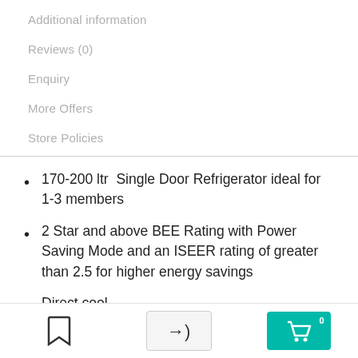Additional information
Reviews (0)
Enquiry
More Offers
Store Policies
170-200 ltr  Single Door Refrigerator ideal for 1-3 members
2 Star and above BEE Rating with Power Saving Mode and an ISEER rating of greater than 2.5 for higher energy savings
Direct cool
Temperature regulator to change internal cooling setting